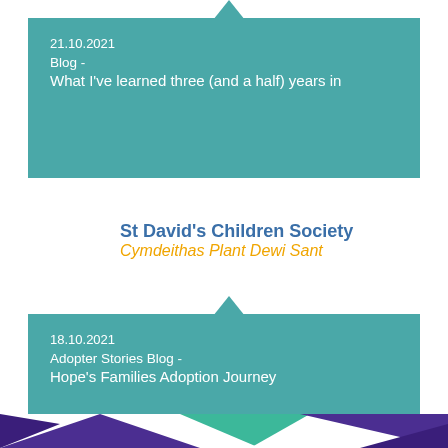21.10.2021
Blog -
What I've learned three (and a half) years in
[Figure (logo): St David's Children Society logo with two adult figures and a child in orange/yellow, and a blue teardrop/heart shape. Text: St David's Children Society / Cymdeithas Plant Dewi Sant]
18.10.2021
Adopter Stories Blog -
Hope's Families Adoption Journey
[Figure (illustration): Colorful geometric triangles in purple, green, and white at the bottom of the page]